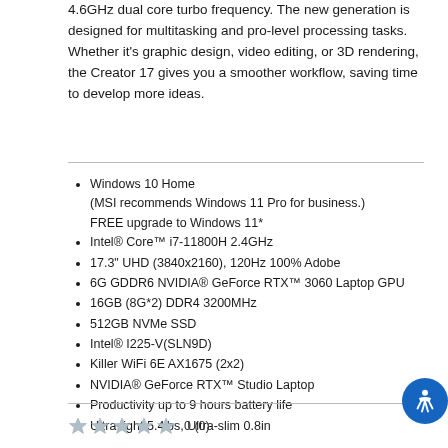4.6GHz dual core turbo frequency. The new generation is designed for multitasking and pro-level processing tasks. Whether it's graphic design, video editing, or 3D rendering, the Creator 17 gives you a smoother workflow, saving time to develop more ideas.
Windows 10 Home (MSI recommends Windows 11 Pro for business.) FREE upgrade to Windows 11*
Intel® Core™ i7-11800H 2.4GHz
17.3" UHD (3840x2160), 120Hz 100% Adobe
6G GDDR6 NVIDIA® GeForce RTX™ 3060 Laptop GPU
16GB (8G*2) DDR4 3200MHz
512GB NVMe SSD
Intel® I225-V(SLN9D)
Killer WiFi 6E AX1675 (2x2)
NVIDIA® GeForce RTX™ Studio Laptop
Productivity up to 9 hours battery life
Ultra-light 5.4lbs, Ultra-slim 0.8in
0 (0)